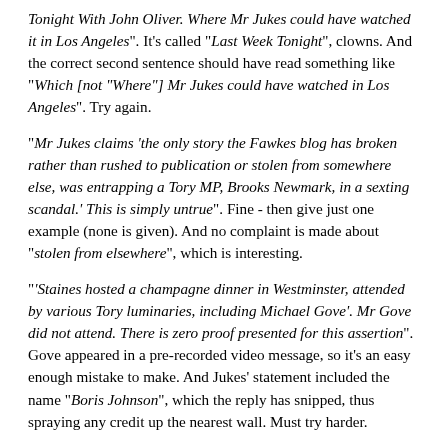Tonight With John Oliver. Where Mr Jukes could have watched it in Los Angeles". It’s called “Last Week Tonight”, clowns. And the correct second sentence should have read something like “Which [not “Where”] Mr Jukes could have watched in Los Angeles”. Try again.
“Mr Jukes claims ‘the only story the Fawkes blog has broken rather than rushed to publication or stolen from somewhere else, was entrapping a Tory MP, Brooks Newmark, in a sexting scandal.’ This is simply untrue”. Fine - then give just one example (none is given). And no complaint is made about “stolen from elsewhere”, which is interesting.
“‘Staines hosted a champagne dinner in Westminster, attended by various Tory luminaries, including Michael Gove’. Mr Gove did not attend. There is zero proof presented for this assertion”. Gove appeared in a pre-recorded video message, so it’s an easy enough mistake to make. And Jukes’ statement included the name “Boris Johnson”, which the reply has snipped, thus spraying any credit up the nearest wall. Must try harder.
This one you’ll love: “Regarding our Westminster Bureau Chief Mr Harry Cole, ‘Last time I saw him in Westminster, early evening, his jogging gear. Still disarmingly charming, he looked like a hopeful young Conservative candidate.’ Presumably this is based on his ethnicity and gender?” Ooh look